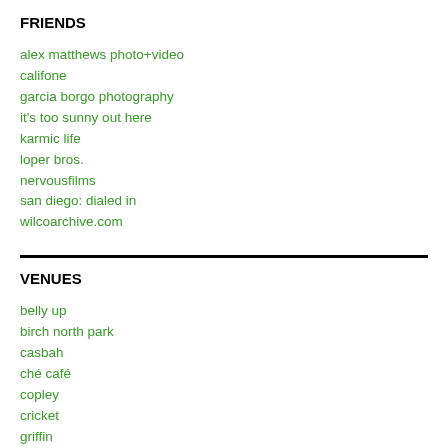FRIENDS
alex matthews photo+video
califone
garcia borgo photography
it's too sunny out here
karmic life
loper bros.
nervousfilms
san diego: dialed in
wilcoarchive.com
VENUES
belly up
birch north park
casbah
ché café
copley
cricket
griffin
house of blues